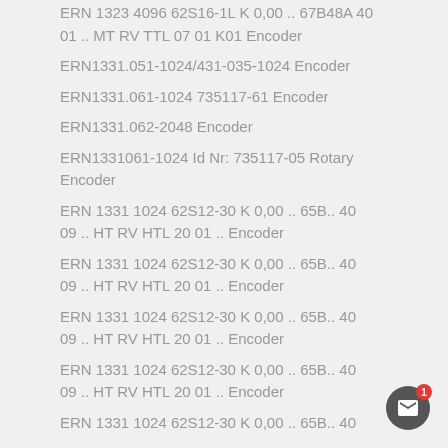ERN 1323 4096 62S16-1L K 0,00 .. 67B48A 40 01 .. MT RV TTL 07 01 K01 Encoder
ERN1331.051-1024/431-035-1024 Encoder
ERN1331.061-1024 735117-61 Encoder
ERN1331.062-2048 Encoder
ERN1331061-1024 Id Nr: 735117-05 Rotary Encoder
ERN 1331 1024 62S12-30 K 0,00 .. 65B.. 40 09 .. HT RV HTL 20 01 .. Encoder
ERN 1331 1024 62S12-30 K 0,00 .. 65B.. 40 09 .. HT RV HTL 20 01 .. Encoder
ERN 1331 1024 62S12-30 K 0,00 .. 65B.. 40 09 .. HT RV HTL 20 01 .. Encoder
ERN 1331 1024 62S12-30 K 0,00 .. 65B.. 40 09 .. HT RV HTL 20 01 .. Encoder
ERN 1331 1024 62S12-30 K 0,00 .. 65B.. 40